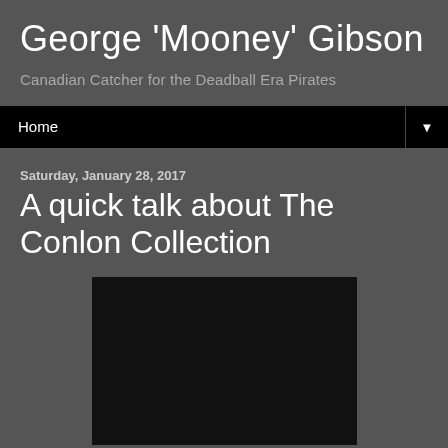George 'Mooney' Gibson
Canadian Catcher for the Deadball Era Pirates
Home ▼
Saturday, January 28, 2017
A quick talk about The Conlon Collection
[Figure (photo): Black image area, appears to be a photo or embedded media that is not fully loaded or is very dark]